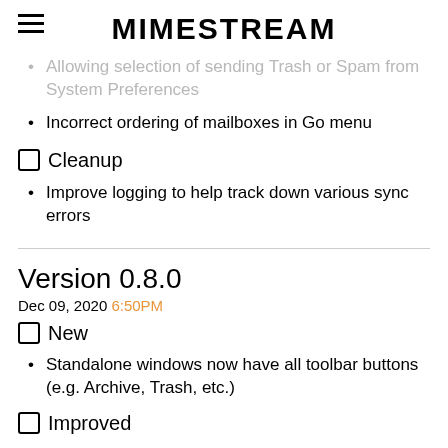MIMESTREAM
Allowing selection of sending Trash or Spam from System Preferences
Incorrect ordering of mailboxes in Go menu
🧹 Cleanup
Improve logging to help track down various sync errors
Version 0.8.0
Dec 09, 2020 6:50PM
🆕 New
Standalone windows now have all toolbar buttons (e.g. Archive, Trash, etc.)
🔧 Improved